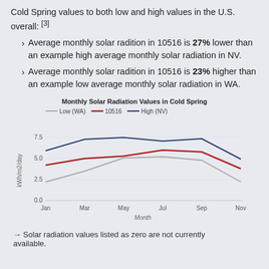Cold Spring values to both low and high values in the U.S. overall: [3]
Average monthly solar radition in 10516 is 27% lower than an example high average monthly solar radiation in NV.
Average monthly solar radition in 10516 is 23% higher than an example low average monthly solar radiation in WA.
[Figure (line-chart): Monthly Solar Radiation Values in Cold Spring]
→ Solar radiation values listed as zero are not currently available.